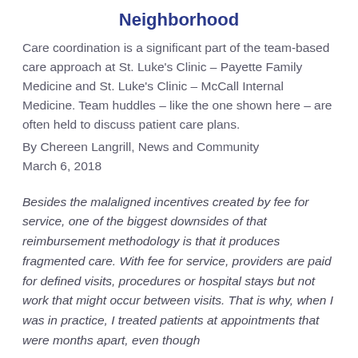Neighborhood
Care coordination is a significant part of the team-based care approach at St. Luke's Clinic – Payette Family Medicine and St. Luke's Clinic – McCall Internal Medicine. Team huddles – like the one shown here – are often held to discuss patient care plans.
By Chereen Langrill, News and Community
March 6, 2018
Besides the malaligned incentives created by fee for service, one of the biggest downsides of that reimbursement methodology is that it produces fragmented care. With fee for service, providers are paid for defined visits, procedures or hospital stays but not work that might occur between visits. That is why, when I was in practice, I treated patients at appointments that were months apart, even though